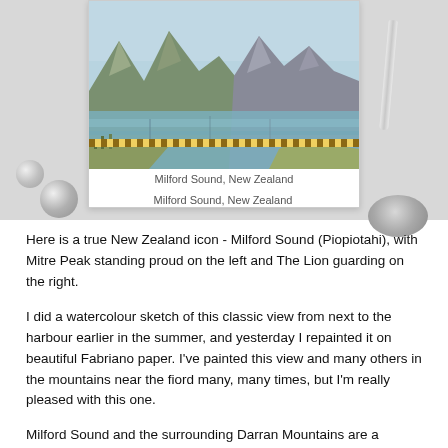[Figure (photo): A watercolour painting of Milford Sound, New Zealand, showing mountains (Mitre Peak on left, The Lion on right) with water in the foreground. The painting is displayed on a spiral-bound sketchbook resting on a light grey surface, with a pencil/stylus to the right, two silver balls on the lower left, and a decorative stone on the lower right.]
Milford Sound, New Zealand
Here is a true New Zealand icon - Milford Sound (Piopiotahi), with Mitre Peak standing proud on the left and The Lion guarding on the right.
I did a watercolour sketch of this classic view from next to the harbour earlier in the summer, and yesterday I repainted it on beautiful Fabriano paper. I've painted this view and many others in the mountains near the fiord many, many times, but I'm really pleased with this one.
Milford Sound and the surrounding Darran Mountains are a